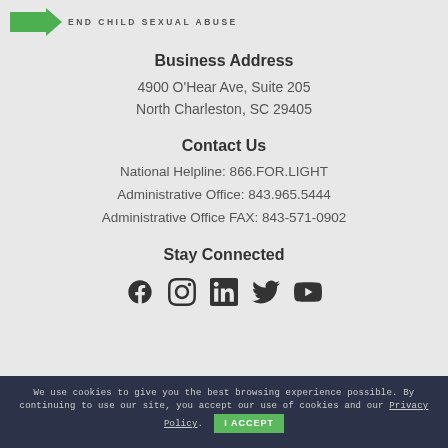[Figure (logo): Green arrow/logo shape with tagline END CHILD SEXUAL ABUSE]
Business Address
4900 O'Hear Ave, Suite 205
North Charleston, SC 29405
Contact Us
National Helpline: 866.FOR.LIGHT
Administrative Office: 843.965.5444
Administrative Office FAX: 843-571-0902
Stay Connected
[Figure (illustration): Social media icons: Facebook, Instagram, LinkedIn, Twitter, YouTube]
We use cookies to give you the best browsing experience possible. By continuing to use our site, you accept our use of cookies and our Privacy Policy. I ACCEPT